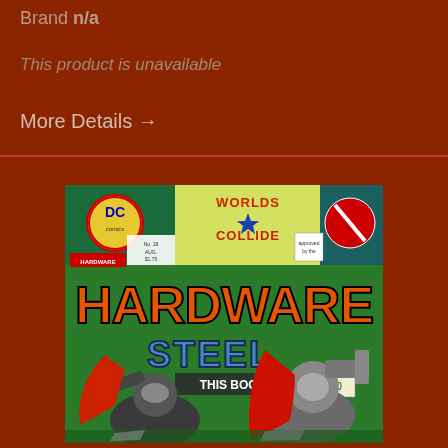Brand n/a
This product is unavailable
More Details →
[Figure (photo): Comic book cover of Hardware/Steel 'Worlds Collide' featuring DC Comics and Milestone logos, with characters Hardware and Steel, price tag S$3.00]